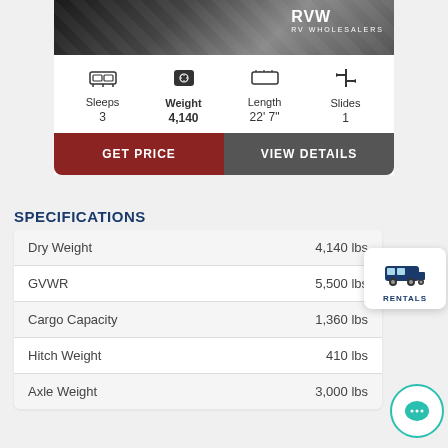[Figure (photo): Partial photo of an RV interior/exterior with RVW logo in top right corner]
Sleeps 3 | Weight 4,140 | Length 22' 7" | Slides 1
GET PRICE
VIEW DETAILS
SPECIFICATIONS
| Specification | Value |
| --- | --- |
| Dry Weight | 4,140 lbs |
| GVWR | 5,500 lbs |
| Cargo Capacity | 1,360 lbs |
| Hitch Weight | 410 lbs |
| Axle Weight | 3,000 lbs |
[Figure (logo): RENTALS badge with RV icon in dark blue]
[Figure (illustration): Chat bubble icon in teal circle]